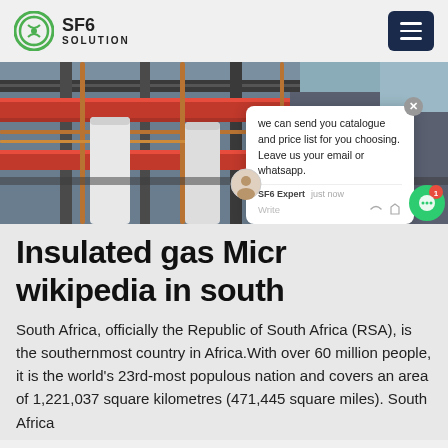SF6 SOLUTION
[Figure (photo): Industrial facility with red pipes, copper tubing, and large cylindrical tanks/equipment in what appears to be a gas insulation or electrical substation facility.]
Insulated gas Micro wikipedia in south
South Africa, officially the Republic of South Africa (RSA), is the southernmost country in Africa.With over 60 million people, it is the world's 23rd-most populous nation and covers an area of 1,221,037 square kilometres (471,445 square miles). South Africa